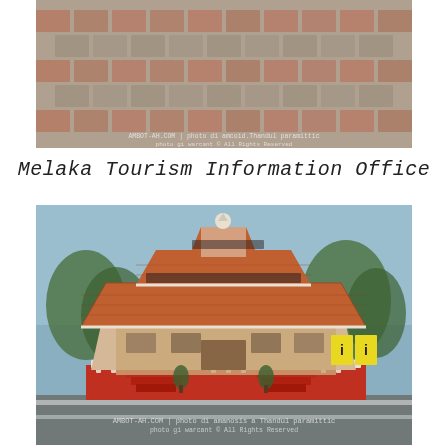[Figure (photo): Aerial or close-up view of decorative brick paving tiles in a pattern, with reddish-brown and grey tones. Watermark text visible at bottom.]
Melaka Tourism Information Office
[Figure (photo): Photograph of the Melaka Tourism Information Office building, a traditional Malay-style structure with a tiered orange-terracotta tiled roof and white trim, red lower walls with white balustrades, steps leading to entrance, surrounded by trees and paved areas. Yellow signboards visible on right. Watermark text visible at bottom.]